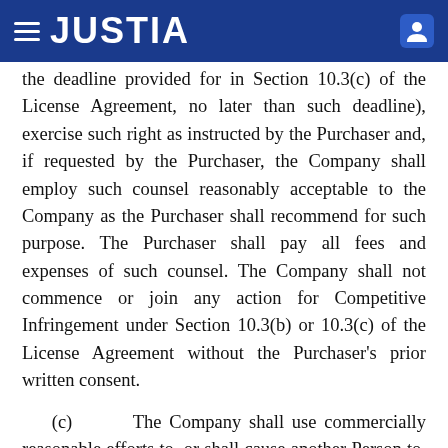JUSTIA
the deadline provided for in Section 10.3(c) of the License Agreement, no later than such deadline), exercise such right as instructed by the Purchaser and, if requested by the Purchaser, the Company shall employ such counsel reasonably acceptable to the Company as the Purchaser shall recommend for such purpose. The Purchaser shall pay all fees and expenses of such counsel. The Company shall not commence or join any action for Competitive Infringement under Section 10.3(b) or 10.3(c) of the License Agreement without the Purchaser's prior written consent.
(c)    The Company shall use commercially reasonable efforts to, or shall cause another Person to, in each case at the sole expense of the Company, (i) take any and all actions, and prepare, execute, deliver and file any and all agreements, documents and instruments, that are reasonably necessary or desirable to diligently